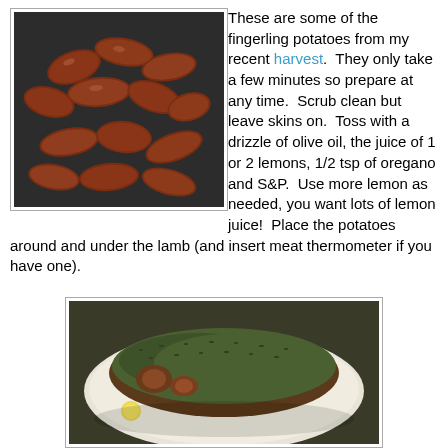[Figure (photo): Fingerling potatoes in a dark pan, reddish-brown color]
These are some of the fingerling potatoes from my recent harvest.  They only take a few minutes so prepare at any time.  Scrub clean but leave skins on.  Toss with a drizzle of olive oil, the juice of 1 or 2 lemons, 1/2 tsp of oregano and S&P.  Use more lemon as needed, you want lots of lemon juice!  Place the potatoes around and under the lamb (and insert meat thermometer if you have one).
[Figure (photo): Herb-crusted lamb roast on a white plate with green marinade coating]